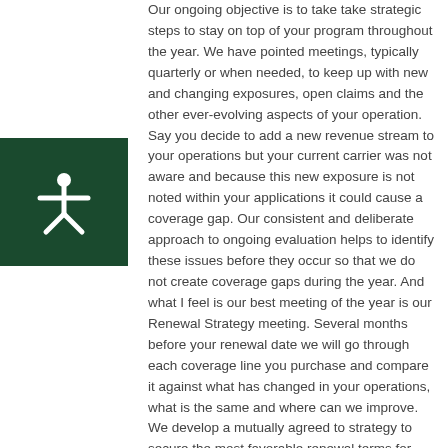[Figure (illustration): Dark green square icon with a white accessibility/person figure (stick figure with arms outstretched)]
Our ongoing objective is to take take strategic steps to stay on top of your program throughout the year. We have pointed meetings, typically quarterly or when needed, to keep up with new and changing exposures, open claims and the other ever-evolving aspects of your operation. Say you decide to add a new revenue stream to your operations but your current carrier was not aware and because this new exposure is not noted within your applications it could cause a coverage gap. Our consistent and deliberate approach to ongoing evaluation helps to identify these issues before they occur so that we do not create coverage gaps during the year. And what I feel is our best meeting of the year is our Renewal Strategy meeting. Several months before your renewal date we will go through each coverage line you purchase and compare it against what has changed in your operations, what is the same and where can we improve. We develop a mutually agreed to strategy to secure the most favorable renewal terms for your coverage. This is the time where we review...